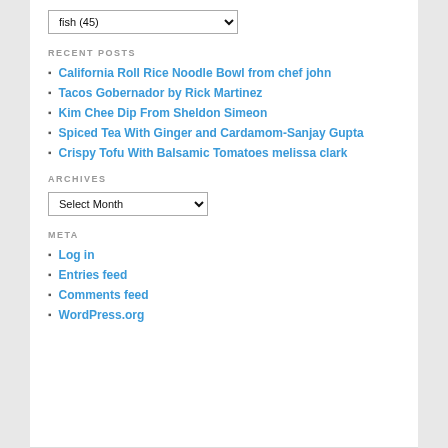fish (45)
RECENT POSTS
California Roll Rice Noodle Bowl from chef john
Tacos Gobernador by Rick Martinez
Kim Chee Dip From Sheldon Simeon
Spiced Tea With Ginger and Cardamom-Sanjay Gupta
Crispy Tofu With Balsamic Tomatoes melissa clark
ARCHIVES
Select Month
META
Log in
Entries feed
Comments feed
WordPress.org